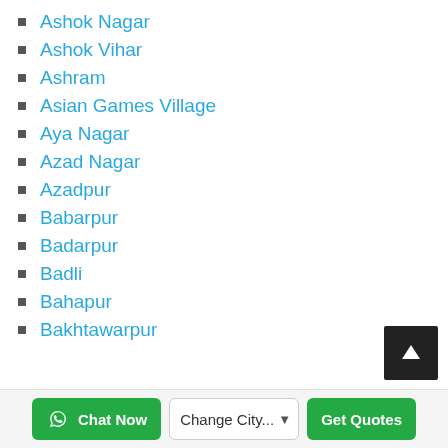Ashok Nagar
Ashok Vihar
Ashram
Asian Games Village
Aya Nagar
Azad Nagar
Azadpur
Babarpur
Badarpur
Badli
Bahapur
Bakhtawarpur
Chat Now | Change City... | Get Quotes